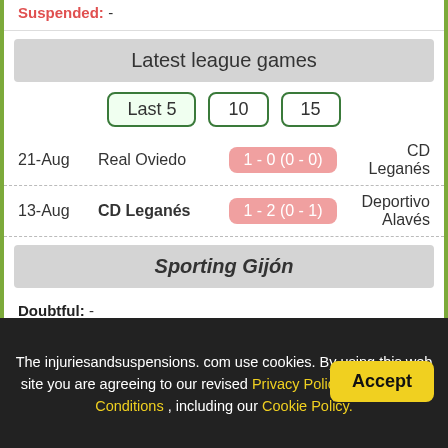Suspended: -
Latest league games
Last 5 | 10 | 15
| Date | Home | Score | Away |
| --- | --- | --- | --- |
| 21-Aug | Real Oviedo | 1 - 0 (0 - 0) | CD Leganés |
| 13-Aug | CD Leganés | 1 - 2 (0 - 1) | Deportivo Alavés |
Sporting Gijón
Doubtful: -
Out (injuries/other): Victor Campuzano (6/0 f), Berto González (0/0 m)
Suspended: -
The injuriesandsuspensions. com use cookies. By using this web site you are agreeing to our revised Privacy Policy and Terms & Conditions , including our Cookie Policy.